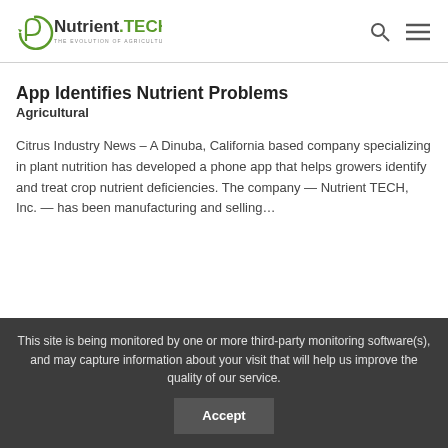[Figure (logo): Nutrient.TECH logo with circular leaf icon and tagline THE EVOLUTION OF AGRICULTURE]
App Identifies Nutrient Problems
Agricultural
Citrus Industry News – A Dinuba, California based company specializing in plant nutrition has developed a phone app that helps growers identify and treat crop nutrient deficiencies. The company — Nutrient TECH, Inc. — has been manufacturing and selling...
This site is being monitored by one or more third-party monitoring software(s), and may capture information about your visit that will help us improve the quality of our service. Accept